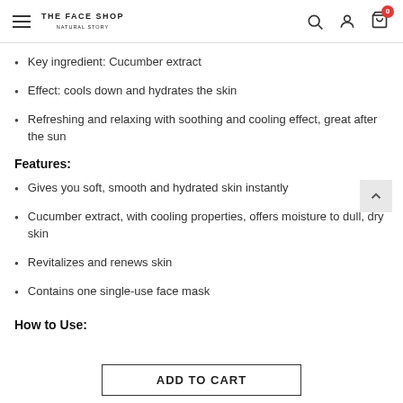THE FACE SHOP NATURAL STORY — navigation header with hamburger, logo, search, account, cart icons
Key ingredient: Cucumber extract
Effect: cools down and hydrates the skin
Refreshing and relaxing with soothing and cooling effect, great after the sun
Features:
Gives you soft, smooth and hydrated skin instantly
Cucumber extract, with cooling properties, offers moisture to dull, dry skin
Revitalizes and renews skin
Contains one single-use face mask
How to Use:
ADD TO CART